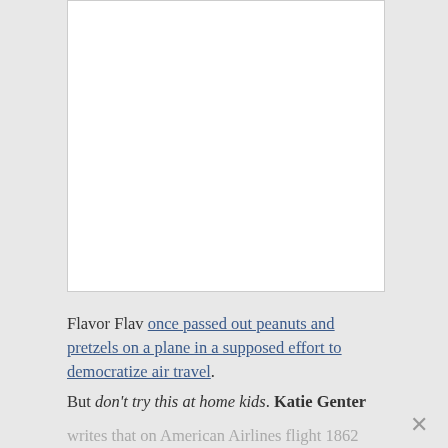[Figure (other): White rectangular image box with light gray border, appears empty or contains a cropped image]
Flavor Flav once passed out peanuts and pretzels on a plane in a supposed effort to democratize air travel.
But don't try this at home kids. Katie Genter writes that on American Airlines flight 1862 from Philadelphia to Atlanta on Saturday a first class passenger was kicked off the plane...